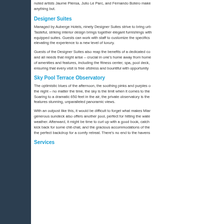noted artists Jaume Plensa, Julio Le Parc, and Fernando Botero make anything but.
Designer Suites
Managed by Auberge Hotels, ninety Designer Suites strive to bring urb. Tasteful, striking interior design brings together elegant furnishings with equipped suites. Guests can work with staff to customize the specifics elevating the experience to a new level of luxury.
Guests of the Designer Suites also reap the benefits of a dedicated co and all needs that might arise – crucial in one's home away from home of amenities and features, including the fitness center, spa, pool deck, ensuring that every visit is free ofstress and bountiful with opportunity
Sky Pool Terrace Observatory
The optimistic blues of the afternoon, the soothing pinks and purples o the night – no matter the time, the sky is the limit when it comes to the Soaring to a dramatic 650 feet in the air, the private observatory is the features stunning, unparalleled panoramic views.
With an outpost like this, it would be difficult to forget what makes Miar generous sundeck also offers another pool, perfect for hitting the wate weather. Afterward, it might be time to curl up with a good book, catch kick back for some chit-chat, and the gracious accommodations of the the perfect backdrop for a comfy retreat. There's no end to the havens
Services